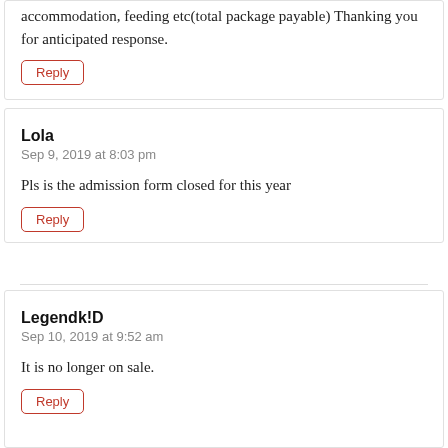accommodation, feeding etc(total package payable) Thanking you for anticipated response.
Reply
Lola
Sep 9, 2019 at 8:03 pm
Pls is the admission form closed for this year
Reply
Legendk!D
Sep 10, 2019 at 9:52 am
It is no longer on sale.
Reply